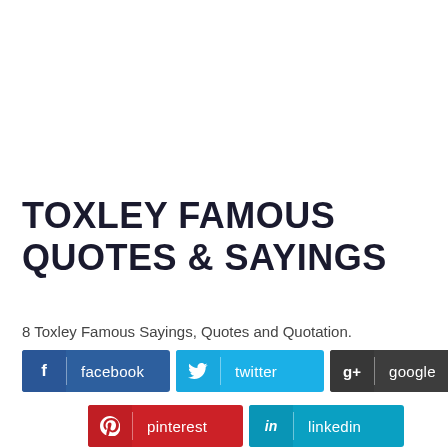TOXLEY FAMOUS QUOTES & SAYINGS
8 Toxley Famous Sayings, Quotes and Quotation.
[Figure (infographic): Social media sharing buttons: facebook, twitter, google, pinterest, linkedin]